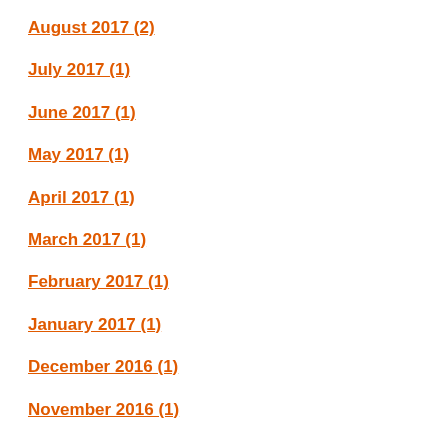August 2017 (2)
July 2017 (1)
June 2017 (1)
May 2017 (1)
April 2017 (1)
March 2017 (1)
February 2017 (1)
January 2017 (1)
December 2016 (1)
November 2016 (1)
RECENT POSTS
What Are The Effects Of Divorce On Children?
Why Do You Need A Bankruptcy Certificate In Colorado?